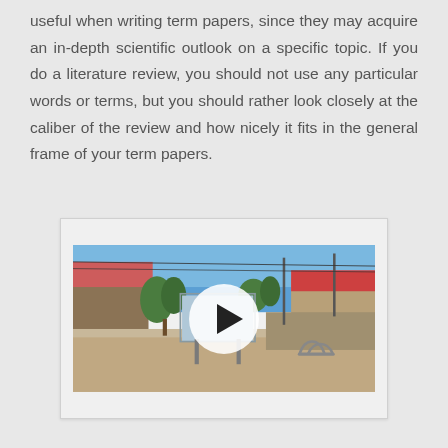useful when writing term papers, since they may acquire an in-depth scientific outlook on a specific topic. If you do a literature review, you should not use any particular words or terms, but you should rather look closely at the caliber of the review and how nicely it fits in the general frame of your term papers.
[Figure (photo): An outdoor public space showing a village square or park area with stone paving, information boards on metal stands, trees, stone walls, a building with red roof tiles, utility poles with cables overhead, and a bicycle rack. A large circular play button overlay is centered on the image, indicating an embedded video.]